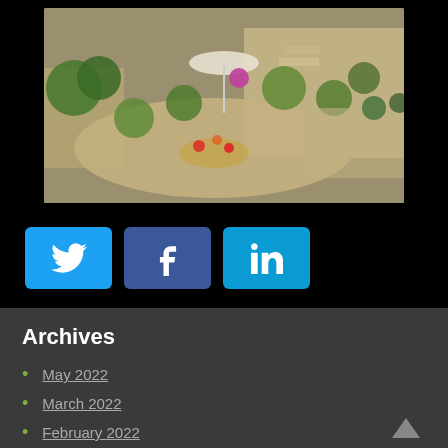[Figure (photo): Aerial view of a courtyard or garden area with stone paving, plants, trees, colorful flowers, umbrellas, and outdoor furniture]
[Figure (infographic): Three social media share buttons: Twitter (cyan), Facebook (dark blue), LinkedIn (medium blue)]
Archives
May 2022
March 2022
February 2022
November 2021
August 2021